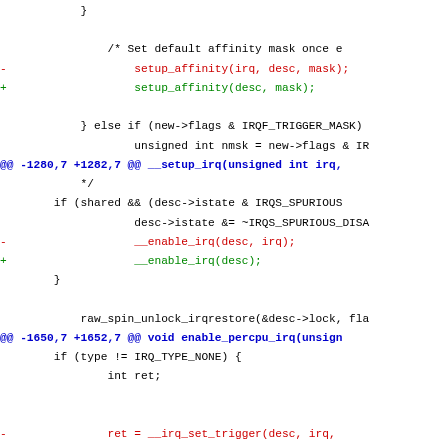Code diff showing changes to IRQ setup functions including setup_affinity, __enable_irq, __irq_set_trigger, and irq_get_irqchip_state